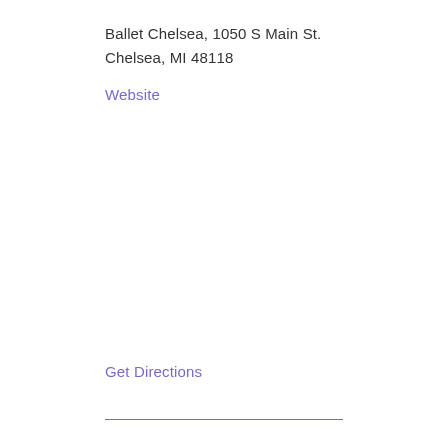Ballet Chelsea, 1050 S Main St.
Chelsea, MI 48118
Website
Get Directions